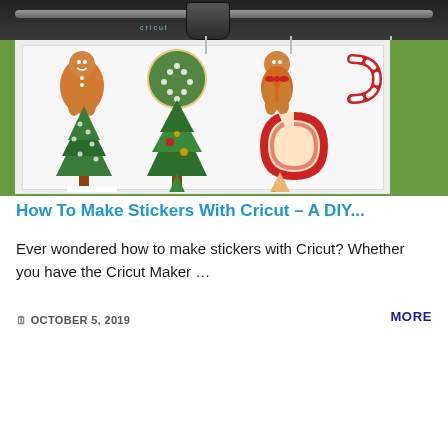[Figure (photo): A Cricut cutting machine with a green mat, processing a sheet of Christmas-themed stickers including gingerbread men, Christmas trees, candy canes, ornaments, a stocking, and spiral candy designs on a white sheet.]
How To Make Stickers With Cricut – A DIY...
Ever wondered how to make stickers with Cricut? Whether you have the Cricut Maker …
🗓 OCTOBER 5, 2019
MORE